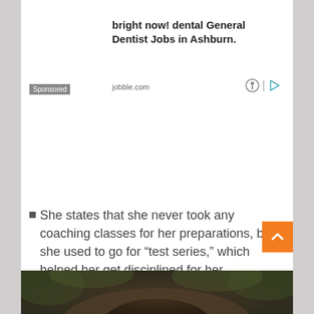bright now! dental General Dentist Jobs in Ashburn.
Sponsored
jobble.com
She states that she never took any coaching classes for her preparations, but she used to go for “test series,” which helped her get disciplined for her preparations.
[Figure (photo): Partial photo of a person, cropped at bottom of page, appearing to show hair and face against a green leafy background]